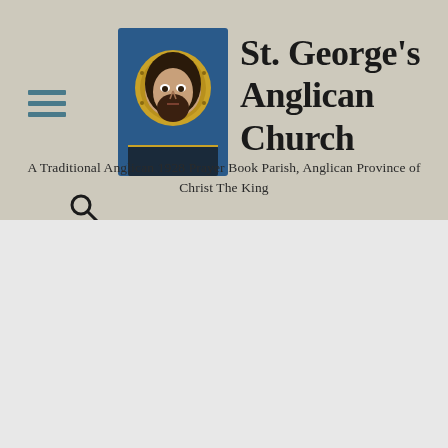[Figure (logo): Byzantine-style icon of Christ (mosaic-like, blue background with gold halo) used as church logo]
St. George's Anglican Church
A Traditional Anglican 1928 Prayer Book Parish, Anglican Province of Christ The King
[Figure (other): Search icon (magnifying glass)]
Saturday after Trinity XIII
[Figure (other): Navigation controls: left arrow, grid icon, right arrow]